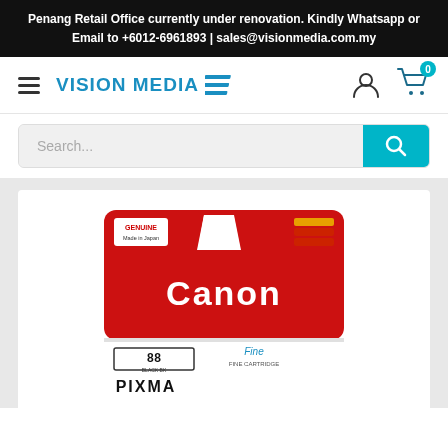Penang Retail Office currently under renovation. Kindly Whatsapp or Email to +6012-6961893 | sales@visionmedia.com.my
[Figure (logo): Vision Media logo with hamburger menu, user icon, and cart icon showing 0 items]
[Figure (screenshot): Search bar with cyan/teal search button]
[Figure (photo): Canon PIXMA ink cartridge product image showing a red Canon branded box with GENUINE Made in Japan label, product number 88, Fine Cartridge label, and PIXMA branding at the bottom]